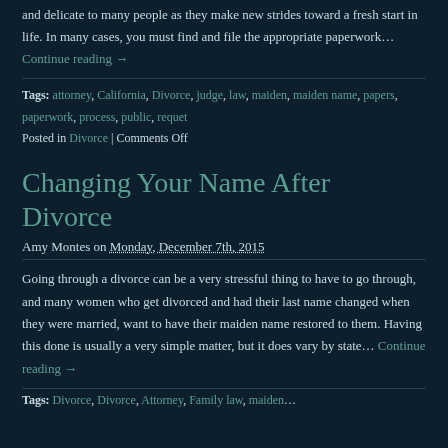and delicate to many people as they make new strides toward a fresh start in life. In many cases, you must find and file the appropriate paperwork… Continue reading →
Tags: attorney, California, Divorce, judge, law, maiden, maiden name, papers, paperwork, process, public, requet
Posted in Divorce | Comments Off
Changing Your Name After Divorce
Amy Montes on Monday, December 7th, 2015
Going through a divorce can be a very stressful thing to have to go through, and many women who get divorced and had their last name changed when they were married, want to have their maiden name restored to them. Having this done is usually a very simple matter, but it does vary by state… Continue reading →
Tags: Divorce, Divorce, Attorney, Family law, maiden...